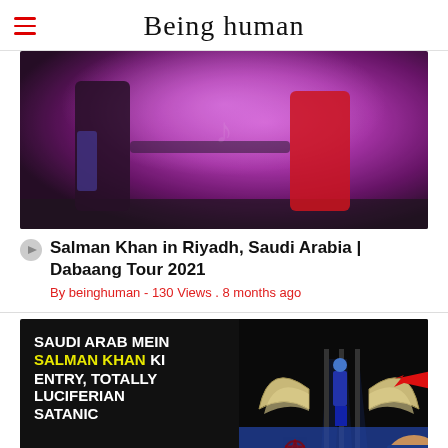Being Human
[Figure (photo): Performance photo showing a male performer in sequined jacket and female performer in red dress on a stage with pink/purple lighting]
Salman Khan in Riyadh, Saudi Arabia | Dabaang Tour 2021
By beinghuman - 130 Views . 8 months ago
[Figure (photo): Thumbnail showing text 'SAUDI ARAB MEIN SALMAN KHAN KI ENTRY, TOTALLY LUCIFERIAN SATANIC' with a figure standing on stage with large angel wings and a red arrow pointing at it, plus an inset photo of Salman Khan]